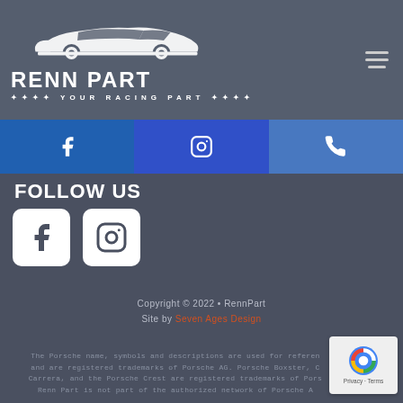[Figure (logo): Renn Part racing logo with white sports car silhouette and text 'RENN PART - YOUR RACING PART' on dark grey background]
[Figure (infographic): Social media bar with Facebook, Instagram, and phone icons on blue backgrounds]
FOLLOW US
[Figure (infographic): Large Facebook and Instagram icons in white on dark background]
Copyright © 2022 • RennPart
Site by Seven Ages Design
The Porsche name, symbols and descriptions are used for reference and are registered trademarks of Porsche AG. Porsche Boxster, C Carrera, and the Porsche Crest are registered trademarks of Por Renn Part is not part of the authorized network of Porsche A